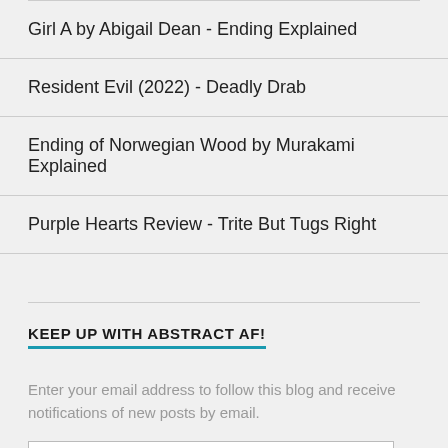Girl A by Abigail Dean - Ending Explained
Resident Evil (2022) - Deadly Drab
Ending of Norwegian Wood by Murakami Explained
Purple Hearts Review - Trite But Tugs Right
KEEP UP WITH ABSTRACT AF!
Enter your email address to follow this blog and receive notifications of new posts by email.
Email Address
Follow